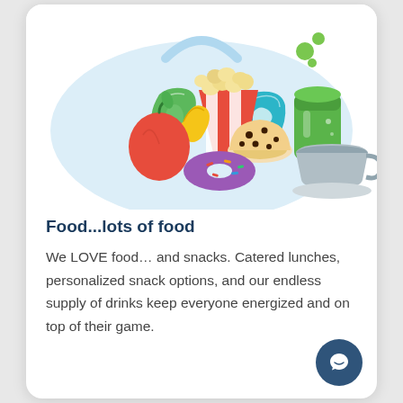[Figure (illustration): Colorful illustration of various foods and drinks inside a light blue rounded bag/tray shape: apple, banana, green snack bag, popcorn in red-striped bucket, muffin with chocolate chips, purple donut, chips bag, green soda can, blue-grey teacup with saucer, and green bubbles above.]
Food...lots of food
We LOVE food… and snacks. Catered lunches, personalized snack options, and our endless supply of drinks keep everyone energized and on top of their game.